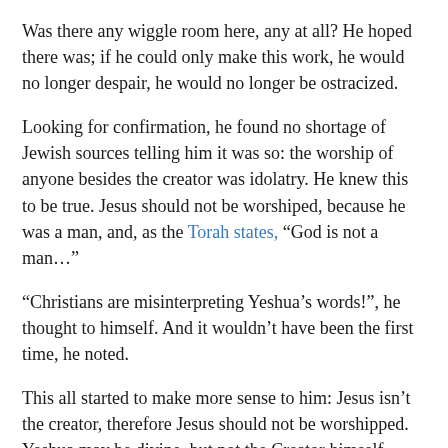Was there any wiggle room here, any at all? He hoped there was; if he could only make this work, he would no longer despair, he would no longer be ostracized.
Looking for confirmation, he found no shortage of Jewish sources telling him it was so: the worship of anyone besides the creator was idolatry. He knew this to be true. Jesus should not be worshiped, because he was a man, and, as the Torah states, “God is not a man…”
“Christians are misinterpreting Yeshua’s words!”, he thought to himself. And it wouldn’t have been the first time, he noted.
This all started to make more sense to him: Jesus isn’t the creator, therefore Jesus should not be worshipped. Yeshua may be divine, but not the Creator himself. Therefore, Yeshua should not be worshipped.
This had to be true. He wanted to believe it. His acceptance in the only true Torah community depended on it.
But something nagged at him: what about all those times in the New Testament when Yeshua is worshipped? What